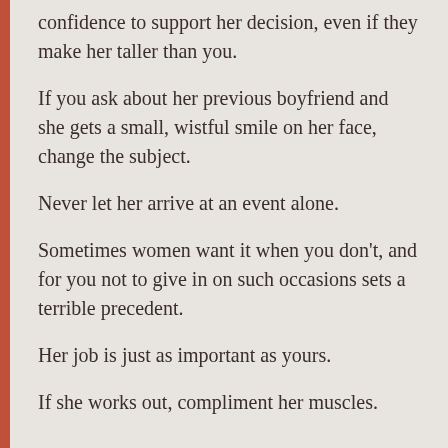confidence to support her decision, even if they make her taller than you.
If you ask about her previous boyfriend and she gets a small, wistful smile on her face, change the subject.
Never let her arrive at an event alone.
Sometimes women want it when you don't, and for you not to give in on such occasions sets a terrible precedent.
Her job is just as important as yours.
If she works out, compliment her muscles.